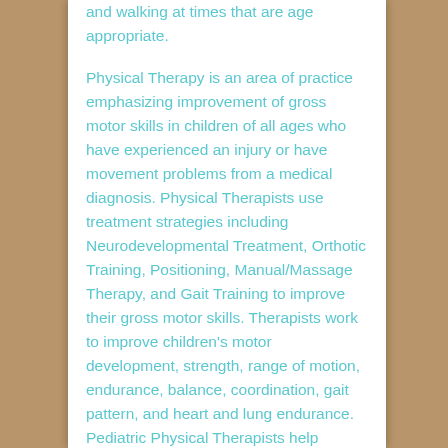and walking at times that are age appropriate.
Physical Therapy is an area of practice emphasizing improvement of gross motor skills in children of all ages who have experienced an injury or have movement problems from a medical diagnosis. Physical Therapists use treatment strategies including Neurodevelopmental Treatment, Orthotic Training, Positioning, Manual/Massage Therapy, and Gait Training to improve their gross motor skills. Therapists work to improve children's motor development, strength, range of motion, endurance, balance, coordination, gait pattern, and heart and lung endurance. Pediatric Physical Therapists help children achieve their...